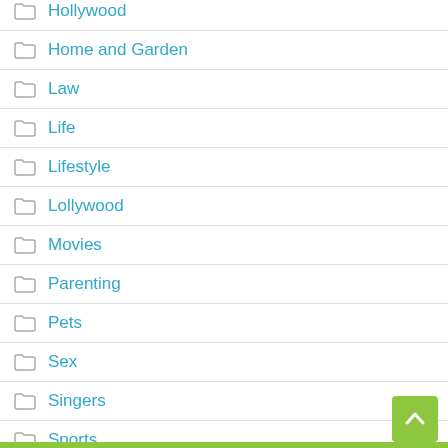Hollywood
Home and Garden
Law
Life
Lifestyle
Lollywood
Movies
Parenting
Pets
Sex
Singers
Sports
Tech
Tips
Travel